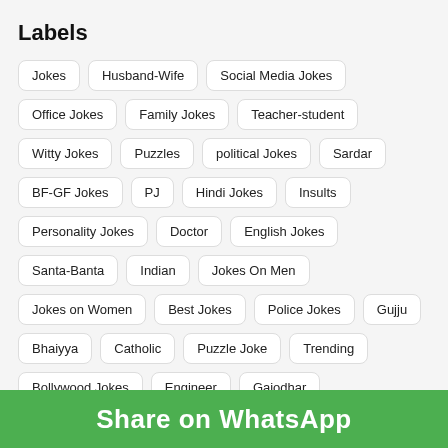Labels
Jokes
Husband-Wife
Social Media Jokes
Office Jokes
Family Jokes
Teacher-student
Witty Jokes
Puzzles
political Jokes
Sardar
BF-GF Jokes
PJ
Hindi Jokes
Insults
Personality Jokes
Doctor
English Jokes
Santa-Banta
Indian
Jokes On Men
Jokes on Women
Best Jokes
Police Jokes
Gujju
Bhaiyya
Catholic
Puzzle Joke
Trending
Bollywood Jokes
Engineer
Gajodhar
Animal Jokes
one-liners
Blonde Joke
Little Johnny
Mallu
Marwari
Sindhi
Festive Jokes
Chinese
Festival Messages
Forum Games
Hyderabadi
JIN
Pa...
Share on WhatsApp